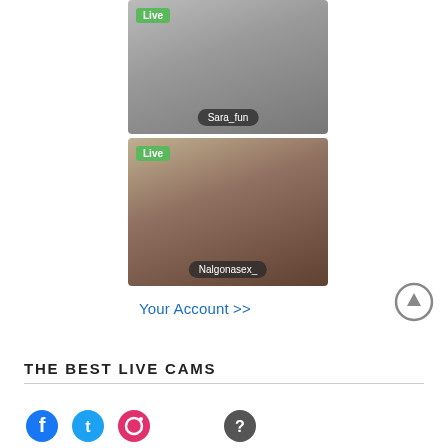[Figure (photo): Live cam thumbnail showing a woman with username Sara_fun, with a green Live badge in the top left]
[Figure (photo): Live cam thumbnail showing a woman with username Nalgonasex_, with a green Live badge in the top left]
Your Account >>
THE BEST LIVE CAMS